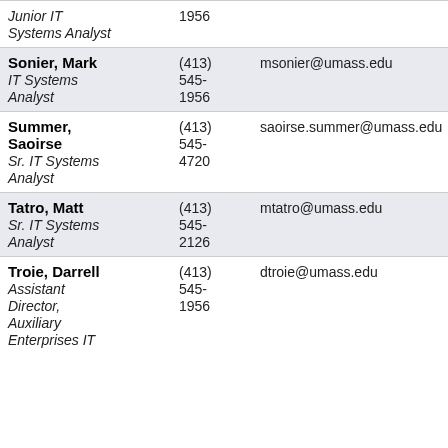| Name / Title | Phone | Email |
| --- | --- | --- |
| Junior IT Systems Analyst | 1956 |  |
| Sonier, Mark / IT Systems Analyst | (413) 545-1956 | msonier@umass.edu |
| Summer, Saoirse / Sr. IT Systems Analyst | (413) 545-4720 | saoirse.summer@umass.edu |
| Tatro, Matt / Sr. IT Systems Analyst | (413) 545-2126 | mtatro@umass.edu |
| Troie, Darrell / Assistant Director, Auxiliary Enterprises IT | (413) 545-1956 | dtroie@umass.edu |